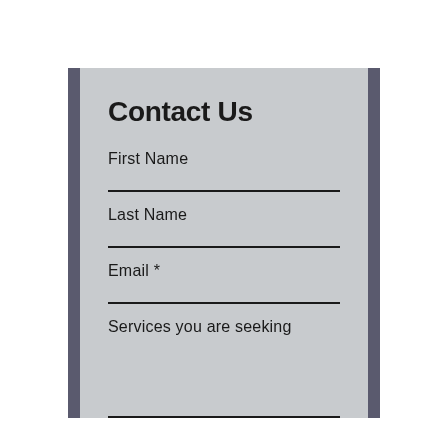Contact Us
First Name
Last Name
Email *
Services you are seeking